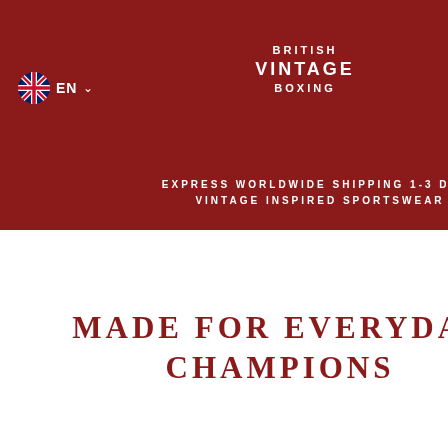BRITISH VINTAGE BOXING — EN — EXPRESS WORLDWIDE SHIPPING 1-3 DAYS — VINTAGE INSPIRED SPORTSWEAR
total ould o get mply, then sted ugh nat
MADE FOR EVERYDAY CHAMPIONS